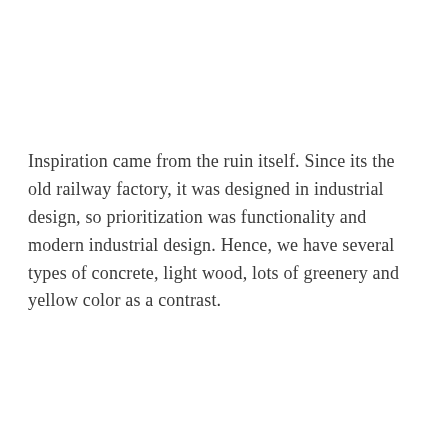Inspiration came from the ruin itself. Since its the old railway factory, it was designed in industrial design, so prioritization was functionality and modern industrial design. Hence, we have several types of concrete, light wood, lots of greenery and yellow color as a contrast.